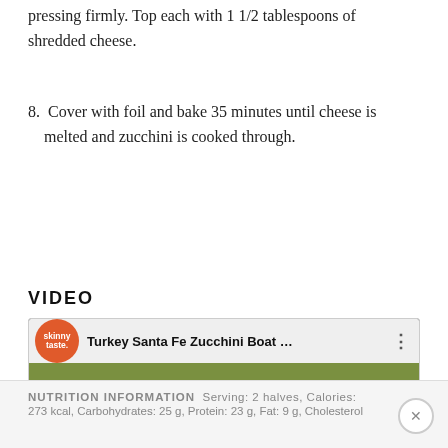pressing firmly. Top each with 11/2 tablespoons of shredded cheese.
8. Cover with foil and bake 35 minutes until cheese is melted and zucchini is cooked through.
VIDEO
[Figure (screenshot): Video thumbnail for 'Turkey Santa Fe Zucchini Boat...' with skinnytaste.com branding badge, food photo of stuffed zucchini boats with black beans, corn and tomatoes, and a play button overlay.]
NUTRITION INFORMATION  Serving: 2 halves, Calories: 273 kcal, Carbohydrates: 25 g, Protein: 23 g, Fat: 9 g, Cholesterol